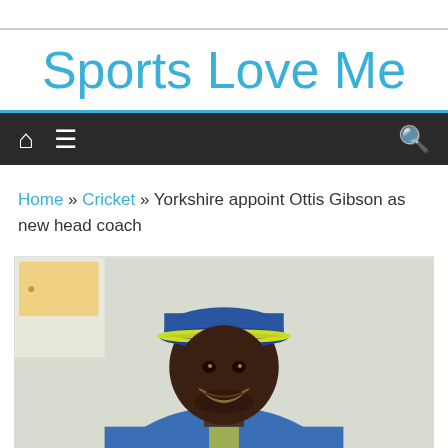Sports Love Me
Home » Cricket » Yorkshire appoint Ottis Gibson as new head coach
[Figure (photo): Smiling man wearing a blue and yellow cricket cap and blue jacket, photographed outdoors]